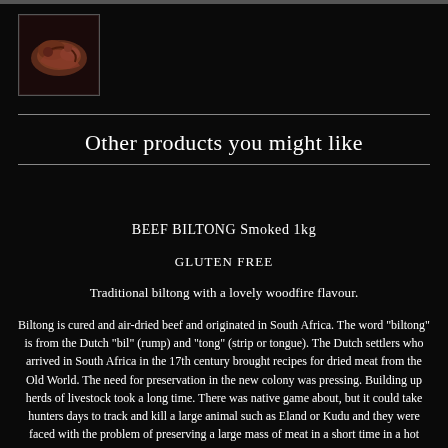[Figure (photo): Small product image of biltong/dried meat in top-left corner on black background]
Other products you might like
BEEF BILTONG Smoked 1kg
GLUTEN FREE
Traditional biltong with a lovely woodfire flavour.
Biltong is cured and air-dried beef and originated in South Africa. The word "biltong" is from the Dutch "bil" (rump) and "tong" (strip or tongue). The Dutch settlers who arrived in South Africa in the 17th century brought recipes for dried meat from the Old World. The need for preservation in the new colony was pressing. Building up herds of livestock took a long time. There was native game about, but it could take hunters days to track and kill a large animal such as Eland or Kudu and they were faced with the problem of preserving a large mass of meat in a short time in a hot climate during a period of history before iceboxes had been invented. Desiccation solved the problem Biltong as we understand it today evolved from the dried meat carried by the wagon-travelling Voortrekkers who needed stocks of durable food as they migrated from the Cape Colony north-eastward